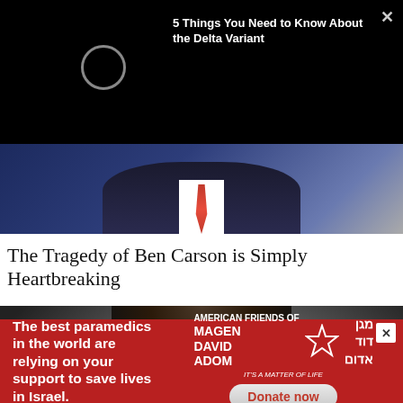[Figure (screenshot): Black video overlay with a circular play indicator and text '5 Things You Need to Know About the Delta Variant' with a close X button]
[Figure (photo): Photo of Ben Carson in a dark suit with red tie, cropped to torso]
The Tragedy of Ben Carson is Simply Heartbreaking
[Figure (photo): Close-up photo of a man's face and dark hair against a blurred background]
[Figure (infographic): Red advertisement banner for American Friends of Magen David Adom with text 'The best paramedics in the world are relying on your support to save lives in Israel.' and a Donate now button]